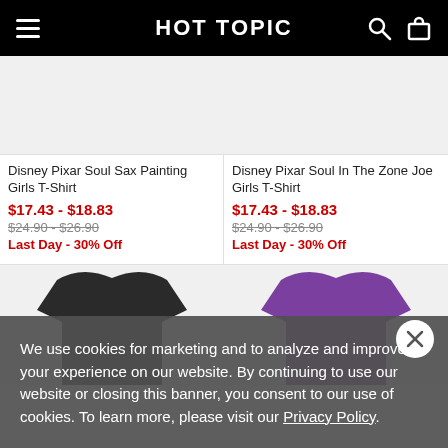HOT TOPIC
[Figure (photo): Product image placeholder for Disney Pixar Soul Sax Painting Girls T-Shirt (top, cropped)]
Disney Pixar Soul Sax Painting Girls T-Shirt
$17.43 - $18.83
$24.90 - $26.90
Last Day - 30% Off
[Figure (photo): Product image placeholder for Disney Pixar Soul In The Zone Joe Girls T-Shirt (top, cropped)]
Disney Pixar Soul In The Zone Joe Girls T-Shirt
$17.43 - $18.83
$24.90 - $26.90
Last Day - 30% Off
[Figure (photo): Black t-shirt product image (bottom left, partially visible)]
[Figure (photo): Purple t-shirt product image (bottom right, partially visible)]
We use cookies for marketing and to analyze and improve your experience on our website. By continuing to use our website or closing this banner, you consent to our use of cookies. To learn more, please visit our Privacy Policy.